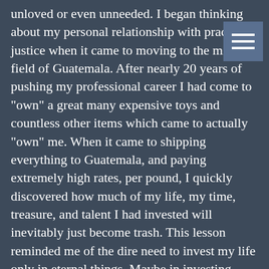unloved or even unneeded.  I began thinking about my personal relationship with practicing justice when it came to moving to the mission field of Guatemala.  After nearly 20 years of pushing my professional career I had come to "own" a great many expensive toys and countless other items which came to actually "own" me.  When it came to shipping everything to Guatemala, and paying extremely high rates, per pound, I quickly discovered how much of my life, my time, treasure, and talent I had invested will inevitably just become trash.  This lesson reminded me of the dire need to invest my life only in eternal things. Maybe in investing more of my life in eternity, I can be my neighbor’s answered prayer for his  daily bread (Matthew 6:11).
Speaking of, “our daily bread,” while growing up, I always felt telling God to, “give us our daily bread,” was extremely arrogant and plainly just rude.  After all, who of us can demand anything of the Lord?  But now that I’m much older and (hopefully wiser) I can